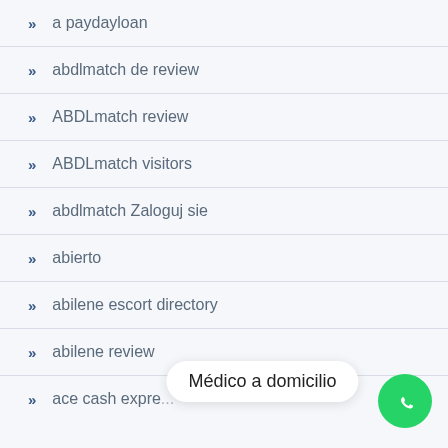a paydayloan
abdlmatch de review
ABDLmatch review
ABDLmatch visitors
abdlmatch Zaloguj sie
abierto
abilene escort directory
abilene review
ace cash expre...
Médico a domicilio